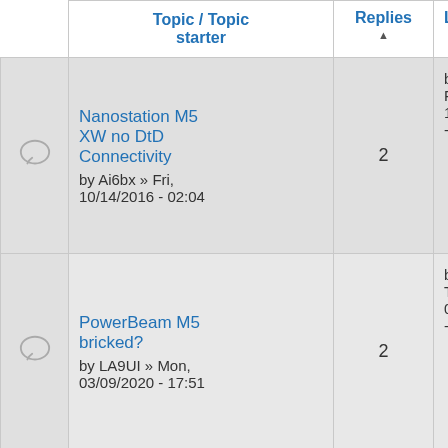|  | Topic / Topic starter | Replies ▲ | Last |
| --- | --- | --- | --- |
| [icon] | Nanostation M5 XW no DtD Connectivity
by Ai6bx » Fri, 10/14/2016 - 02:04 | 2 | by A
Fri,
10/1
- 09 |
| [icon] | PowerBeam M5 bricked?
by LA9UI » Mon, 03/09/2020 - 17:51 | 2 | by A
Tue
03/1
- 17 |
| [icon] | WIFI access
by K9LRR… |  | by K
Wed |